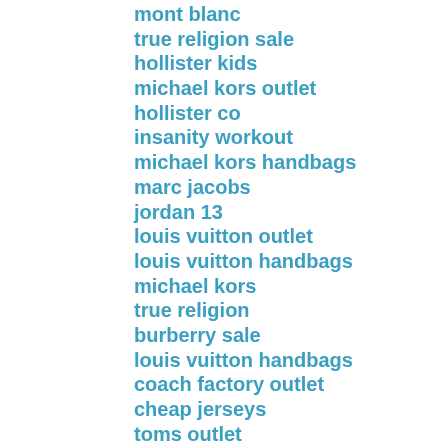mont blanc
true religion sale
hollister kids
michael kors outlet
hollister co
insanity workout
michael kors handbags
marc jacobs
jordan 13
louis vuitton outlet
louis vuitton handbags
michael kors
true religion
burberry sale
louis vuitton handbags
coach factory outlet
cheap jerseys
toms outlet
michael kors
hollister clothing
hollister clothing store
kobe bryant shoes